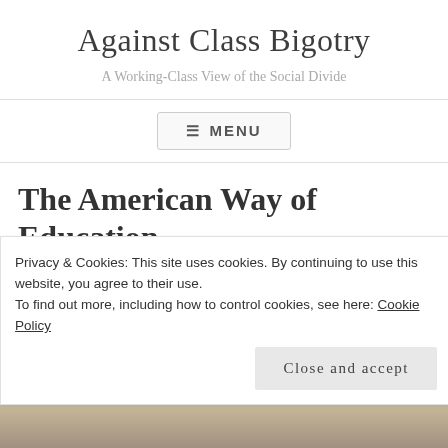Against Class Bigotry
A Working-Class View of the Social Divide
≡ MENU
The American Way of Education
DECEMBER 05, 2014 — CHRIS DERUS
Privacy & Cookies: This site uses cookies. By continuing to use this website, you agree to their use.
To find out more, including how to control cookies, see here: Cookie Policy
Close and accept